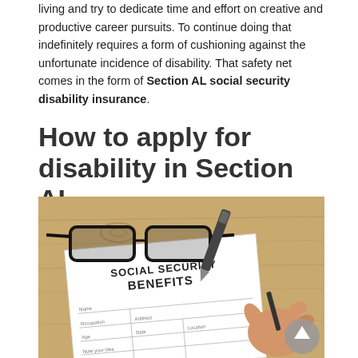living and try to dedicate time and effort on creative and productive career pursuits. To continue doing that indefinitely requires a form of cushioning against the unfortunate incidence of disability. That safety net comes in the form of Section AL social security disability insurance.
How to apply for disability in Section AL
[Figure (photo): A Social Security Benefits form on a wooden desk with glasses and a pen, with a hand writing on the form.]